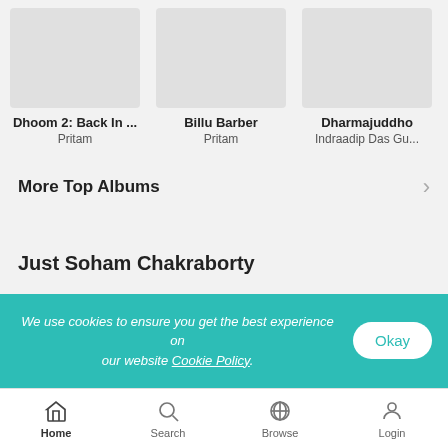[Figure (screenshot): Album thumbnails row showing Dhoom 2: Back In ... by Pritam, Billu Barber by Pritam, Dharmajuddho by Indraadip Das Gu..., and a partially visible fourth album]
More Top Albums
Just Soham Chakraborty
We use cookies to ensure you get the best experience on our website Cookie Policy.
Home   Search   Browse   Login